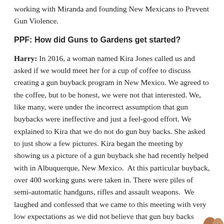working with Miranda and founding New Mexicans to Prevent Gun Violence.
PPF: How did Guns to Gardens get started?
Harry: In 2016, a woman named Kira Jones called us and asked if we would meet her for a cup of coffee to discuss creating a gun buyback program in New Mexico. We agreed to the coffee, but to be honest, we were not that interested. We, like many, were under the incorrect assumption that gun buybacks were ineffective and just a feel-good effort. We explained to Kira that we do not do gun buy backs. She asked to just show a few pictures. Kira began the meeting by showing us a picture of a gun buyback she had recently helped with in Albuquerque, New Mexico. At this particular buyback, over 400 working guns were taken in. There were piles of semi-automatic handguns, rifles and assault weapons. We laughed and confessed that we came to this meeting with very low expectations as we did not believe that gun buy backs reduced gun violence. We said to her, “we do gun buybacks now.”
[Figure (photo): Partial image of figures/silhouettes visible at bottom right corner of page]